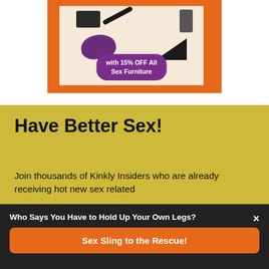[Figure (illustration): Advertisement banner with orange background showing sex furniture products and a purple badge reading 'with 15% OFF All Sex Furniture']
Have Better Sex!
Join thousands of Kinkly Insiders who are already receiving hot new sex related
Who Says You Have to Hold Up Your Own Legs? ×
Sex Sling to the Rescue!